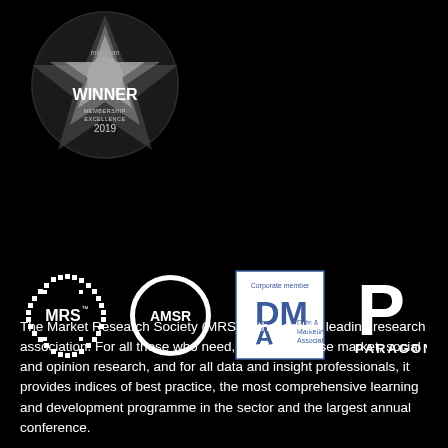[Figure (logo): memcom WINNER Membership Excellence 2019 award badge - circular black badge with metallic star design]
[Figure (logo): MRS (Market Research Society) logo - circular dotted pattern in white]
[Figure (logo): AMSR logo - circle outline with AMSR text]
[Figure (logo): DMA Corporate member logo - Data & Marketing Association]
[Figure (logo): Paragon logo - large P with PARAGON text below]
The Market Research Society (MRS) is the world's leading research association. For all those who need, generate or use market, social and opinion research, and for all data and insight professionals, it provides indices of best practice, the most comprehensive learning and development programme in the sector and the largest annual conference.